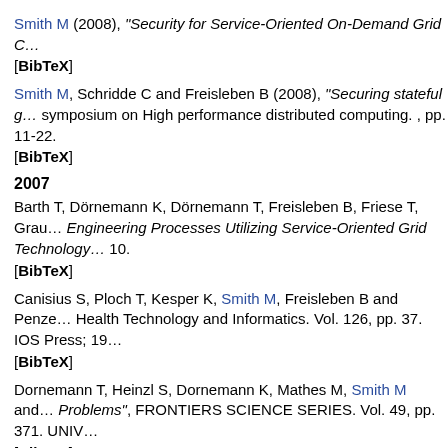Smith M (2008), "Security for Service-Oriented On-Demand Grid C…"
[BibTeX]
Smith M, Schridde C and Freisleben B (2008), "Securing stateful g…" symposium on High performance distributed computing. , pp. 11-22.
[BibTeX]
2007
Barth T, Dörnemann K, Dörnemann T, Freisleben B, Friese T, Grau… Engineering Processes Utilizing Service-Oriented Grid Technology… 10.
[BibTeX]
Canisius S, Ploch T, Kesper K, Smith M, Freisleben B and Penze… Health Technology and Informatics. Vol. 126, pp. 37. IOS Press; 19…
[BibTeX]
Dornemann T, Heinzl S, Dornemann K, Mathes M, Smith M and… Problems", FRONTIERS SCIENCE SERIES. Vol. 49, pp. 371. UNIV…
[BibTeX]